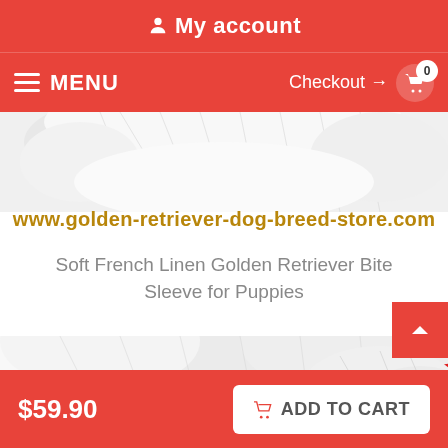My account
MENU   Checkout → 0
[Figure (photo): Top portion of a white fluffy dog (Golden Retriever puppy) biting a red linen bite sleeve training toy]
www.golden-retriever-dog-breed-store.com
Soft French Linen Golden Retriever Bite Sleeve for Puppies
[Figure (photo): Bottom portion of the same product image showing a red linen bite sleeve being held by a white fluffy Golden Retriever puppy]
$59.90   ADD TO CART